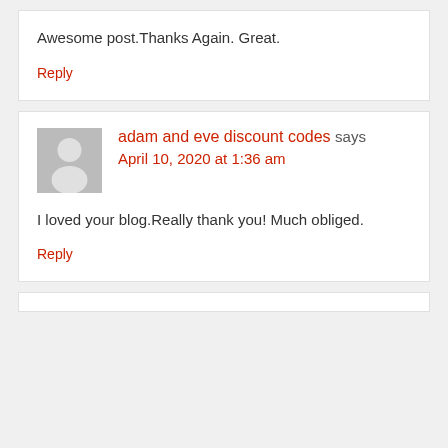Awesome post.Thanks Again. Great.
Reply
adam and eve discount codes says April 10, 2020 at 1:36 am
I loved your blog.Really thank you! Much obliged.
Reply